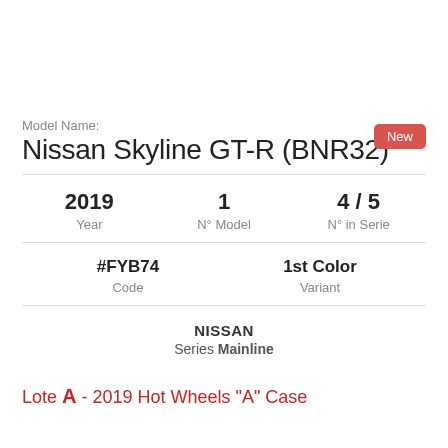Model Name:
Nissan Skyline GT-R (BNR32)
| 2019 Year | 1 N° Model | 4 / 5 N° in Serie |
| --- | --- | --- |
| #FYB74 Code | 1st Color Variant |
| --- | --- |
NISSAN
Series Mainline
Lote A - 2019 Hot Wheels "A" Case